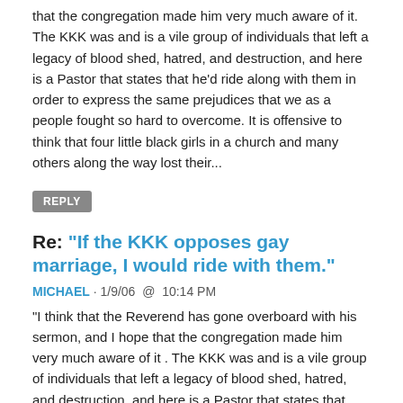that the congregation made him very much aware of it. The KKK was and is a vile group of individuals that left a legacy of blood shed, hatred, and destruction, and here is a Pastor that states that he'd ride along with them in order to express the same prejudices that we as a people fought so hard to overcome. It is offensive to think that four little black girls in a church and many others along the way lost their...
REPLY
Re: "If the KKK opposes gay marriage, I would ride with them."
MICHAEL · 1/9/06  @  10:14 PM
"I think that the Reverend has gone overboard with his sermon, and I hope that the congregation made him very much aware of it . The KKK was and is a vile group of individuals that left a legacy of blood shed, hatred, and destruction, and here is a Pastor that states that he'd ride along with them in order to express the same prejudices that we as a people fought so hard to overcome. It is offensive to think that four little black girls in a church and many others along the way lost their...
REPLY
Re: "If the KKK opposes gay marriage, I would ride